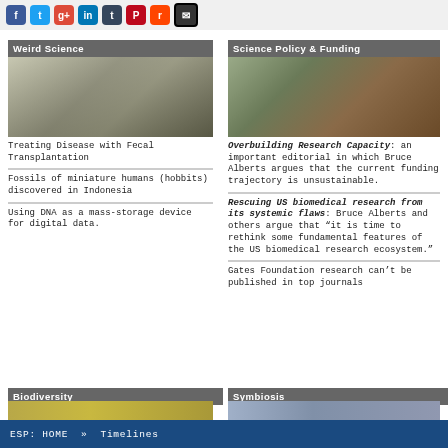Social sharing icons: Facebook, Twitter, Google+, LinkedIn, Tumblr, Pinterest, Reddit, Email
Weird Science
[Figure (photo): Black and white photo of Charles Darwin with hand on chin, alongside a hand-drawn evolutionary tree sketch]
Treating Disease with Fecal Transplantation
Fossils of miniature humans (hobbits) discovered in Indonesia
Using DNA as a mass-storage device for digital data.
Science Policy & Funding
[Figure (photo): Man with glasses holding stacks of money/cash and papers, resembling a Breaking Bad scene]
Overbuilding Research Capacity: an important editorial in which Bruce Alberts argues that the current funding trajectory is unsustainable.
Rescuing US biomedical research from its systemic flaws: Bruce Alberts and others argue that "it is time to rethink some fundamental features of the US biomedical research ecosystem."
Gates Foundation research can't be published in top journals
Biodiversity
[Figure (photo): Partial image of biodiversity-related nature scene]
Symbiosis
[Figure (photo): Partial image of symbiosis-related scene]
ESP: HOME » Timelines